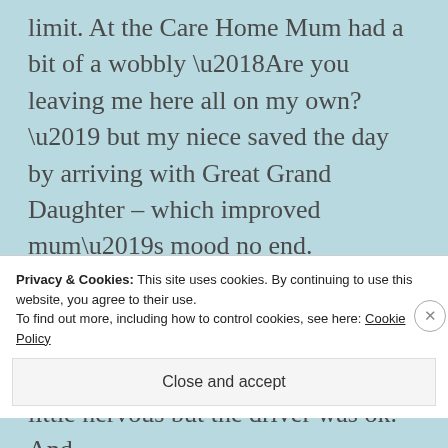limit. At the Care Home Mum had a bit of a wobbly ‘Are you leaving me here all on my own?’ but my niece saved the day by arriving with Great Grand Daughter – which improved mum’s mood no end.

My hotel was about 6 miles away. To get there, I got a cab through the countryside, along dark lanes. I felt a little nervous but the driver was ok. And
Privacy & Cookies: This site uses cookies. By continuing to use this website, you agree to their use.
To find out more, including how to control cookies, see here: Cookie Policy
Close and accept